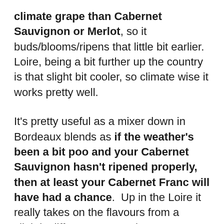climate grape than Cabernet Sauvignon or Merlot, so it buds/blooms/ripens that little bit earlier. Loire, being a bit further up the country is that slight bit cooler, so climate wise it works pretty well.
It's pretty useful as a mixer down in Bordeaux blends as if the weather's been a bit poo and your Cabernet Sauvignon hasn't ripened properly, then at least your Cabernet Franc will have had a chance. Up in the Loire it really takes on the flavours from a slightly different perspective